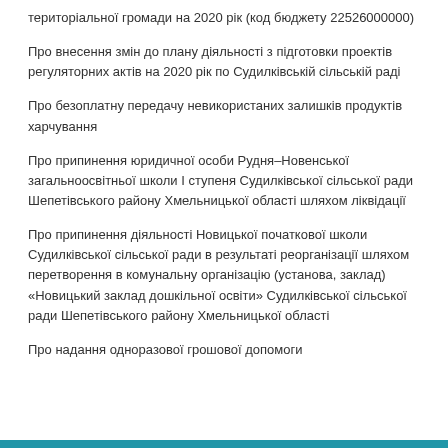територіальної громади на 2020 рік (код бюджету 22526000000)
Про внесення змін до плану діяльності з підготовки проектів регуляторних актів на 2020 рік по Судилківській сільській раді
Про безоплатну передачу невикористаних залишків продуктів харчування
Про припинення юридичної особи Рудня–Новенської загальноосвітньої школи І ступеня Судилківської сільської ради Шепетівського району Хмельницької області шляхом ліквідації
Про припинення діяльності Новицької початкової школи Судилківської сільської ради в результаті реорганізації шляхом перетворення в комунальну організацію (установа, заклад) «Новицький заклад дошкільної освіти» Судилківської сільської ради Шепетівського району Хмельницької області
Про надання одноразової грошової допомоги